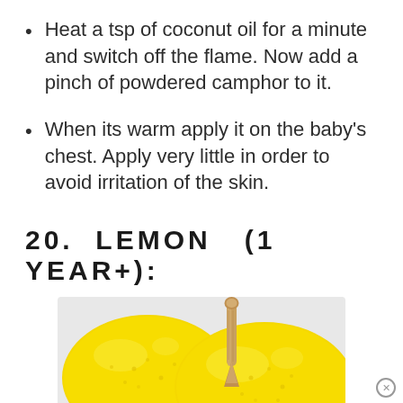Heat a tsp of coconut oil for a minute and switch off the flame. Now add a pinch of powdered camphor to it.
When its warm apply it on the baby's chest. Apply very little in order to avoid irritation of the skin.
20. LEMON (1 YEAR+):
[Figure (photo): Photo of yellow lemons with a wooden citrus reamer/juicer handle visible among them, on a light background.]